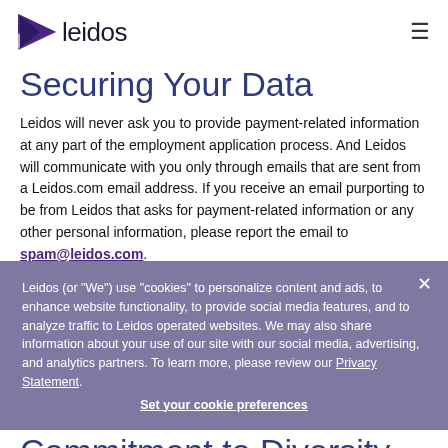leidos
Securing Your Data
Leidos will never ask you to provide payment-related information at any part of the employment application process. And Leidos will communicate with you only through emails that are sent from a Leidos.com email address. If you receive an email purporting to be from Leidos that asks for payment-related information or any other personal information, please report the email to spam@leidos.com.
Leidos (or "We") use "cookies" to personalize content and ads, to enhance website functionality, to provide social media features, and to analyze traffic to Leidos operated websites. We may also share information about your use of our site with our social media, advertising, and analytics partners. To learn more, please review our Privacy Statement.
Set your cookie preferences
Commitment to Diversity
All qualified applicants will receive consideration for employment without regard to sex, race, ethnicity, age,